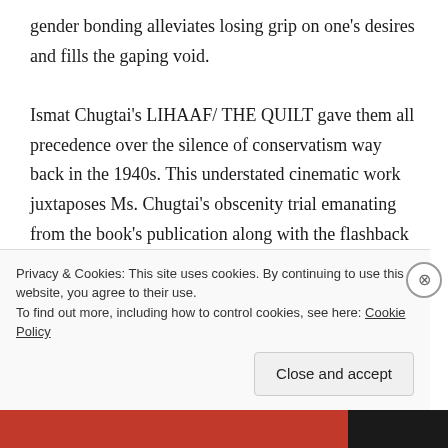gender bonding alleviates losing grip on one's desires and fills the gaping void.

Ismat Chugtai's LIHAAF/ THE QUILT gave them all precedence over the silence of conservatism way back in the 1940s. This understated cinematic work juxtaposes Ms. Chugtai's obscenity trial emanating from the book's publication along with the flashback to her younger days with an aristocratic relative who was suppressed under veils of tradition, genteel society, a queer better half and physical wants beyond her reach.
Privacy & Cookies: This site uses cookies. By continuing to use this website, you agree to their use.
To find out more, including how to control cookies, see here: Cookie Policy

Close and accept